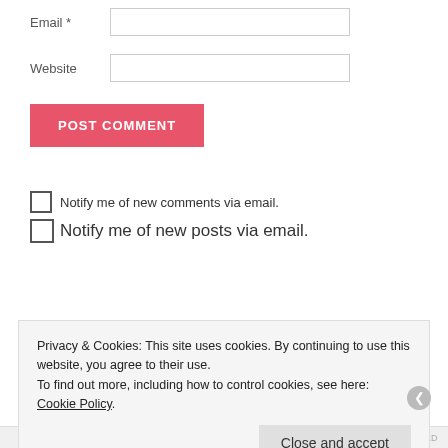Email *
Website
POST COMMENT
Notify me of new comments via email.
Notify me of new posts via email.
Privacy & Cookies: This site uses cookies. By continuing to use this website, you agree to their use.
To find out more, including how to control cookies, see here: Cookie Policy
Close and accept